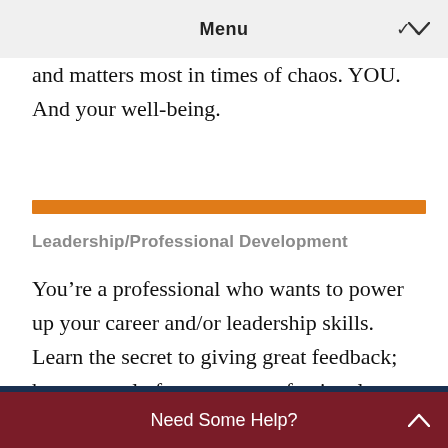Menu
and matters most in times of chaos. YOU. And your well-being.
Leadership/Professional Development
You're a professional who wants to power up your career and/or leadership skills. Learn the secret to giving great feedback; hear a panel of corporate professionals discuss how
Need Some Help?